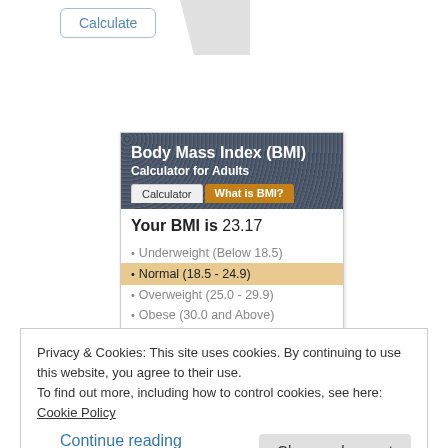[Figure (screenshot): Calculate button with gray tab corner on the right]
[Figure (screenshot): Body Mass Index (BMI) Calculator for Adults widget showing BMI result of 23.17, with categories: Underweight (Below 18.5), Normal (18.5-24.9) highlighted, Overweight (25.0-29.9), Obese (30.0 and Above), and text 'Your weight (135 pounds) is in the Normal category for adults of']
Privacy & Cookies: This site uses cookies. By continuing to use this website, you agree to their use.
To find out more, including how to control cookies, see here:
Cookie Policy
Close and accept
Continue reading